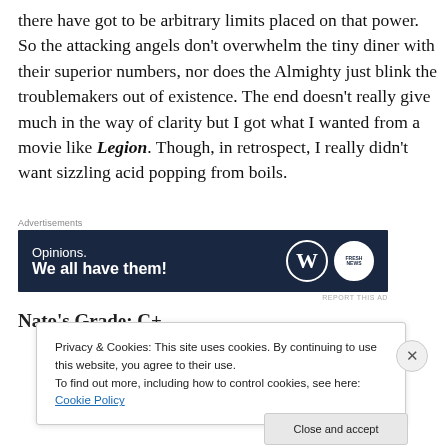there have got to be arbitrary limits placed on that power. So the attacking angels don't overwhelm the tiny diner with their superior numbers, nor does the Almighty just blink the troublemakers out of existence. The end doesn't really give much in the way of clarity but I got what I wanted from a movie like Legion. Though, in retrospect, I really didn't want sizzling acid popping from boils.
[Figure (other): Advertisement banner with dark navy background reading 'Opinions. We all have them!' with WordPress and Fresh News logos on the right.]
Nato's Grade: C+
Privacy & Cookies: This site uses cookies. By continuing to use this website, you agree to their use.
To find out more, including how to control cookies, see here: Cookie Policy